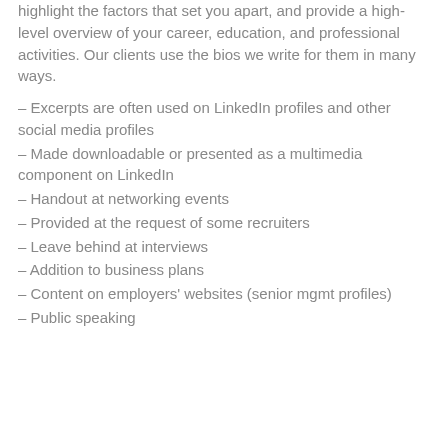highlight the factors that set you apart, and provide a high-level overview of your career, education, and professional activities. Our clients use the bios we write for them in many ways.
– Excerpts are often used on LinkedIn profiles and other social media profiles
– Made downloadable or presented as a multimedia component on LinkedIn
– Handout at networking events
– Provided at the request of some recruiters
– Leave behind at interviews
– Addition to business plans
– Content on employers' websites (senior mgmt profiles)
– Public speaking